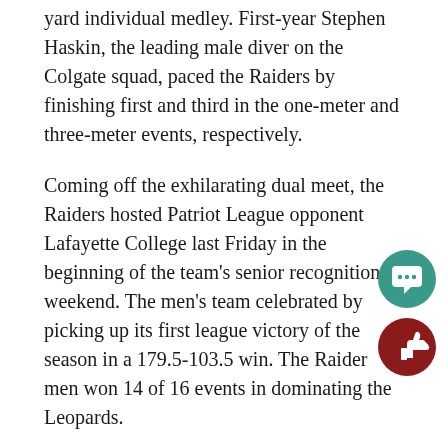yard individual medley. First-year Stephen Haskin, the leading male diver on the Colgate squad, paced the Raiders by finishing first and third in the one-meter and three-meter events, respectively.
Coming off the exhilarating dual meet, the Raiders hosted Patriot League opponent Lafayette College last Friday in the beginning of the team's senior recognition weekend. The men's team celebrated by picking up its first league victory of the season in a 179.5-103.5 win. The Raider men won 14 of 16 events in dominating the Leopards.
The Lafayette women, meanwhile, were no match for the pumped-up Raiders, who dominated in every race. Marchi broke a pool, varsity and first-year record in the 200-yard free, and Walker broke a 24-year-old first-year record in the 200-yard fly. Cole and Chrissy Zaika won their respective events, the 1,000-yard free and the 50-yard free, adding